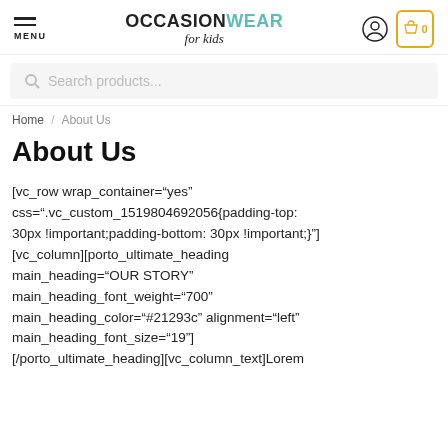OCCASIONWEAR for kids — MENU, user icon, cart
Search products...
Home / About Us
About Us
[vc_row wrap_container="yes" css=".vc_custom_1519804692056{padding-top: 30px !important;padding-bottom: 30px !important;}"] [vc_column][porto_ultimate_heading main_heading="OUR STORY" main_heading_font_weight="700" main_heading_color="#21293c" alignment="left" main_heading_font_size="19"] [/porto_ultimate_heading][vc_column_text]Lorem